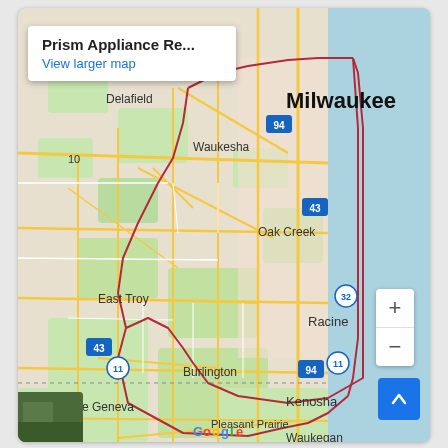[Figure (map): Google Map showing Milwaukee, WI area including Waukesha, Oak Creek, East Troy, Racine, Burlington, Kenosha, Pleasant Prairie, Lake Geneva, and Waukegan. A red boundary polygon outlines the service area. Interstate markers for I-94, I-43, Route 11, Route 32, Route 12, Route 41 are visible. The map shows Lake Michigan on the east side.]
Prism Appliance Re...
View larger map